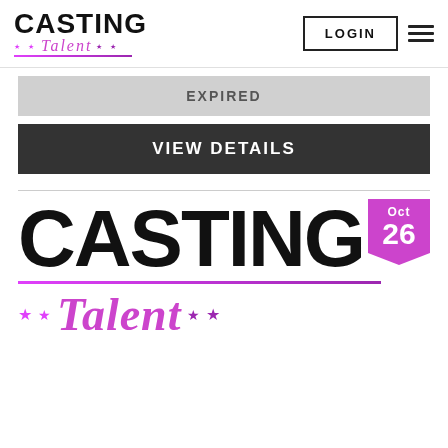[Figure (logo): Casting Talent logo with purple underline and star decorations]
LOGIN
EXPIRED
VIEW DETAILS
[Figure (logo): Large Casting Talent branding card with Oct 26 date badge, large CASTING text, gradient line, and Talent italic text with stars]
Oct 26
CASTING
Talent